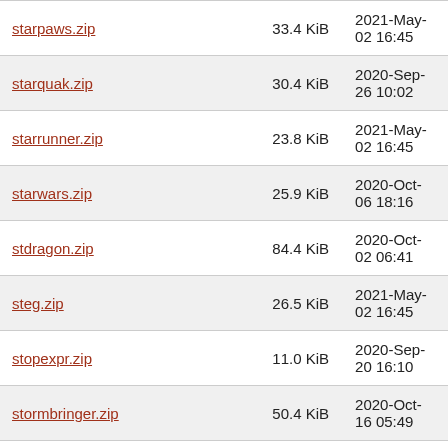| Filename | Size | Date |
| --- | --- | --- |
| starpaws.zip | 33.4 KiB | 2021-May-02 16:45 |
| starquak.zip | 30.4 KiB | 2020-Sep-26 10:02 |
| starrunner.zip | 23.8 KiB | 2021-May-02 16:45 |
| starwars.zip | 25.9 KiB | 2020-Oct-06 18:16 |
| stdragon.zip | 84.4 KiB | 2020-Oct-02 06:41 |
| steg.zip | 26.5 KiB | 2021-May-02 16:45 |
| stopexpr.zip | 11.0 KiB | 2020-Sep-20 16:10 |
| stormbringer.zip | 50.4 KiB | 2020-Oct-16 05:49 |
| stormfinch.zip | 21.0 KiB | 2020-Oct-20 15:31 |
| stormlor.zip | 38.5 KiB | 2020-Sep-26 10:02 |
| stormlor128.zip | 29.5 KiB | 2020-Sep-26 10:02 |